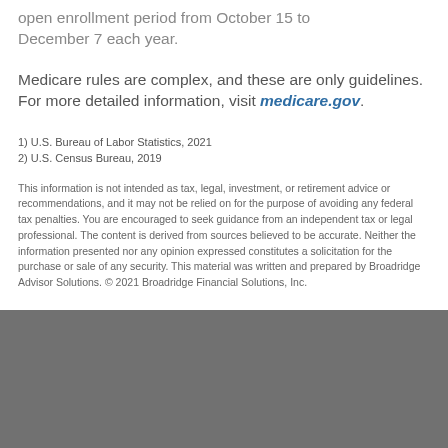open enrollment period from October 15 to December 7 each year.
Medicare rules are complex, and these are only guidelines. For more detailed information, visit medicare.gov.
1) U.S. Bureau of Labor Statistics, 2021
2) U.S. Census Bureau, 2019
This information is not intended as tax, legal, investment, or retirement advice or recommendations, and it may not be relied on for the purpose of avoiding any federal tax penalties. You are encouraged to seek guidance from an independent tax or legal professional. The content is derived from sources believed to be accurate. Neither the information presented nor any opinion expressed constitutes a solicitation for the purchase or sale of any security. This material was written and prepared by Broadridge Advisor Solutions. © 2021 Broadridge Financial Solutions, Inc.